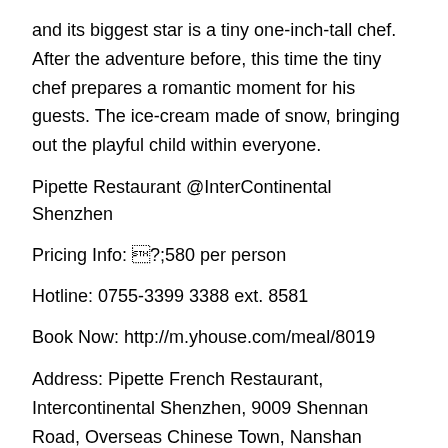and its biggest star is a tiny one-inch-tall chef. After the adventure before, this time the tiny chef prepares a romantic moment for his guests. The ice-cream made of snow, bringing out the playful child within everyone.
Pipette Restaurant @InterContinental Shenzhen
Pricing Info: ¥580 per person
Hotline: 0755-3399 3388 ext. 8581
Book Now: http://m.yhouse.com/meal/8019
Address: Pipette French Restaurant, Intercontinental Shenzhen, 9009 Shennan Road, Overseas Chinese Town, Nanshan District, Shenzhen
[Chinese characters]9009[Chinese characters]Pipette [Chinese characters]